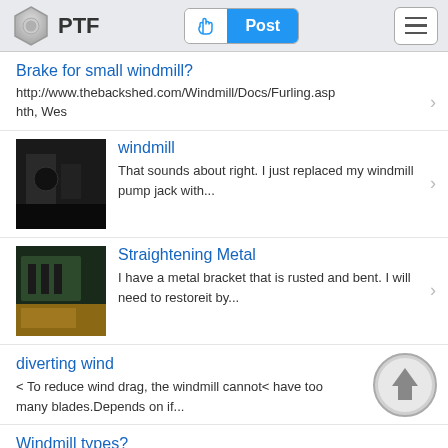PTF | Post
Brake for small windmill?
http://www.thebackshed.com/Windmill/Docs/Furling.asp hth, Wes
windmill
That sounds about right. I just replaced my windmill pump jack with...
[Figure (photo): Dark indoor photo, possibly machinery or windmill parts]
Straightening Metal
I have a metal bracket that is rusted and bent. I will need to restoreit by...
[Figure (photo): Green metal machinery or equipment on a workbench]
diverting wind
< To reduce wind drag, the windmill cannot< have too many blades.Depends on if...
Windmill types?
There's your hubs and rotors for Piggott's design windmill, Gunner